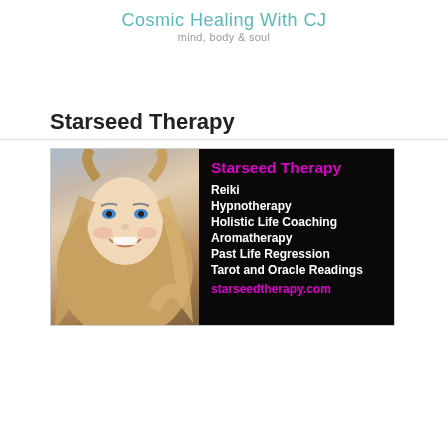Cosmic Healing With CJ
mind, body & soul
Starseed Therapy
[Figure (illustration): Advertisement image for Starseed Therapy. Left half shows a smiling blonde woman. Right half has a black background with magenta title 'Starseed Therapy', white text listing services: Reiki, Hypnotherapy, Holistic Life Coaching, Aromatherapy, Past Life Regression, Tarot and Oracle Readings, and magenta URL starseedtherapy.com]